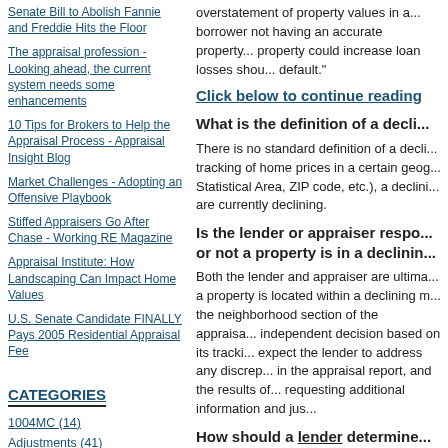Senate Bill to Abolish Fannie and Freddie Hits the Floor
The appraisal profession - Looking ahead, the current system needs some enhancements
10 Tips for Brokers to Help the Appraisal Process - Appraisal Insight Blog
Market Challenges - Adopting an Offensive Playbook
Stiffed Appraisers Go After Chase - Working RE Magazine
Appraisal Institute: How Landscaping Can Impact Home Values
U.S. Senate Candidate FINALLY Pays 2005 Residential Appraisal Fee
CATEGORIES
1004MC (14)
Adjustments (41)
AMC - Appraisal Management (206)
Analysis - Charts - Stats (70)
Appraisal (107)
Appraisal Equipment (10)
Appraisal Organizations (88)
Appraisal Process (106)
Appraisal Review (32)
overstatement of property values in a... borrower not having an accurate property... property could increase loan losses shou... default."
Click below to continue reading
What is the definition of a decli...
There is no standard definition of a decli... tracking of home prices in a certain geog... Statistical Area, ZIP code, etc.), a declini... are currently declining.
Is the lender or appraiser respo... or not a property is in a declinin...
Both the lender and appraiser are ultima... a property is located within a declining m... the neighborhood section of the appraisa... independent decision based on its tracki... expect the lender to address any discrep... in the appraisal report, and the results of... requesting additional information and jus...
How should a lender determine...